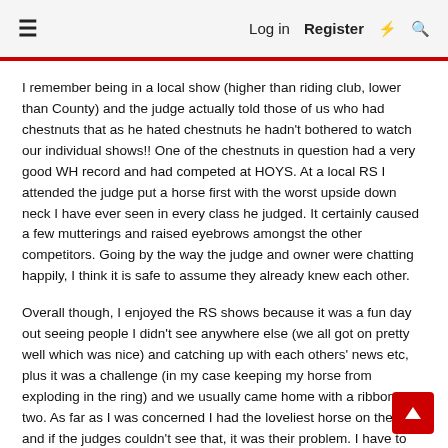≡  Log in  Register ⚡ 🔍
I remember being in a local show (higher than riding club, lower than County) and the judge actually told those of us who had chestnuts that as he hated chestnuts he hadn't bothered to watch our individual shows!! One of the chestnuts in question had a very good WH record and had competed at HOYS. At a local RS I attended the judge put a horse first with the worst upside down neck I have ever seen in every class he judged. It certainly caused a few mutterings and raised eyebrows amongst the other competitors. Going by the way the judge and owner were chatting happily, I think it is safe to assume they already knew each other.
Overall though, I enjoyed the RS shows because it was a fun day out seeing people I didn't see anywhere else (we all got on pretty well which was nice) and catching up with each others' news etc, plus it was a challenge (in my case keeping my horse from exploding in the ring) and we usually came home with a ribbon or two. As far as I was concerned I had the loveliest horse on the field and if the judges couldn't see that, it was their problem. I have to say that most of our judges were of a good standard, some up to County level which was probably a bit unusual. Horsey and I had